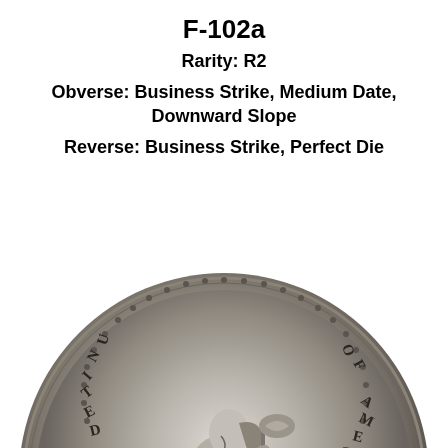F-102a
Rarity: R2
Obverse: Business Strike, Medium Date, Downward Slope
Reverse: Business Strike, Perfect Die
[Figure (photo): Obverse of a Seated Liberty coin (dime), showing Liberty seated holding a shield and staff with cap, inscribed UNITED STATES OF AMERICA around the rim with beaded border, and LIBERTY on the shield base.]